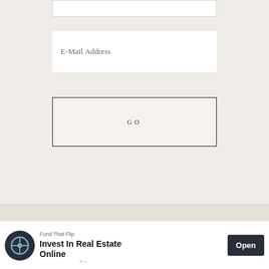E-Mail Address
GO
« Watercolor flower paper wreath
Heart shaped pompom bouquet »
[Figure (screenshot): Advertisement banner: Fund That Flip - Invest In Real Estate Online, with Open button]